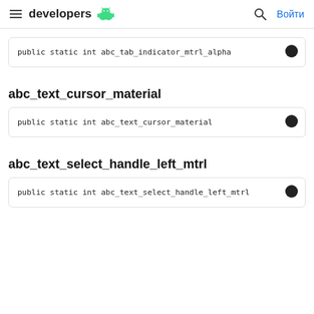developers | Войти
public static int abc_tab_indicator_mtrl_alpha
abc_text_cursor_material
public static int abc_text_cursor_material
abc_text_select_handle_left_mtrl
public static int abc_text_select_handle_left_mtrl